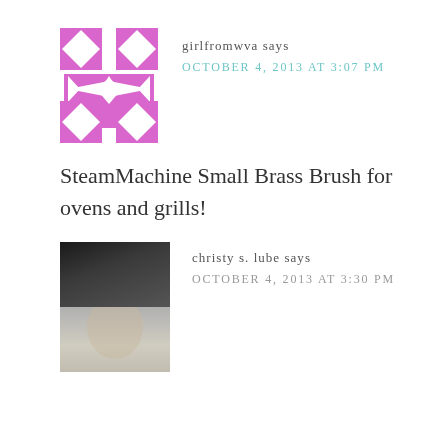[Figure (illustration): Pink quilt-pattern avatar icon made of diamond and star shapes in a grid arrangement]
girlfromwva says
OCTOBER 4, 2013 AT 3:07 PM
SteamMachine Small Brass Brush for ovens and grills!
[Figure (photo): Profile photo of a woman, dark background on top half, lighter on bottom half]
christy s. lube says
OCTOBER 4, 2013 AT 3:30 PM